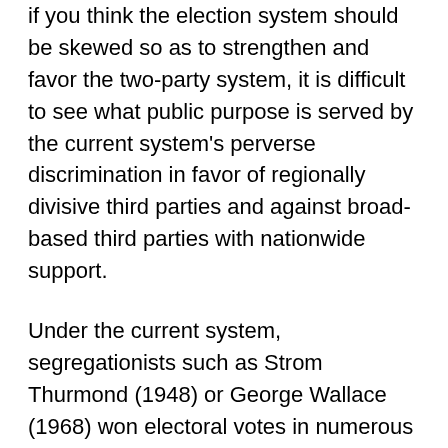if you think the election system should be skewed so as to strengthen and favor the two-party system, it is difficult to see what public purpose is served by the current system's perverse discrimination in favor of regionally divisive third parties and against broad-based third parties with nationwide support.
Under the current system, segregationists such as Strom Thurmond (1948) or George Wallace (1968) won electoral votes in numerous Southern states, although they had no chance of receiving the most popular votes nationwide. While candidates such as John Anderson (1980), Ross Perot (1992 and 1996), and Ralph Nader (2000) did not win a plurality of the popular vote in any state, but managed to affect